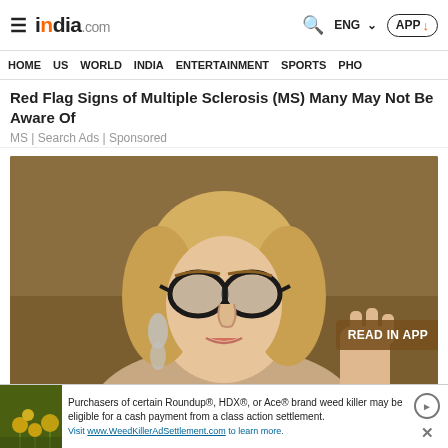india.com — ENG APP
HOME US WORLD INDIA ENTERTAINMENT SPORTS PHO
Red Flag Signs of Multiple Sclerosis (MS) Many May Not Be Aware Of
MS | Search Ads | Sponsored
[Figure (photo): A blonde woman wearing large dark-framed glasses, shown from shoulders up, appearing to speak, with warm brown background. A 'READ IN APP' badge is overlaid on the lower right.]
Purchasers of certain Roundup®, HDX®, or Ace® brand weed killer may be eligible for a cash payment from a class action settlement. Visit www.WeedKillerAdSettlement.com to learn more.